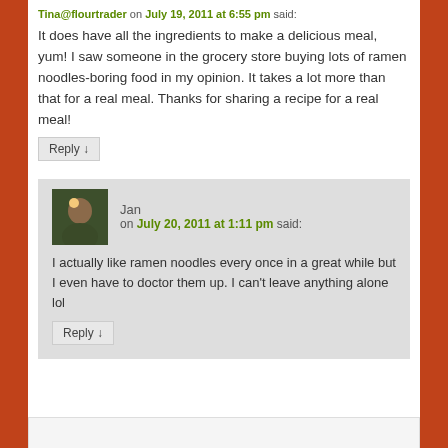Tina@flourtrader on July 19, 2011 at 6:55 pm said:
It does have all the ingredients to make a delicious meal, yum! I saw someone in the grocery store buying lots of ramen noodles-boring food in my opinion. It takes a lot more than that for a real meal. Thanks for sharing a recipe for a real meal!
Reply ↓
Jan on July 20, 2011 at 1:11 pm said:
I actually like ramen noodles every once in a great while but I even have to doctor them up. I can't leave anything alone lol
Reply ↓